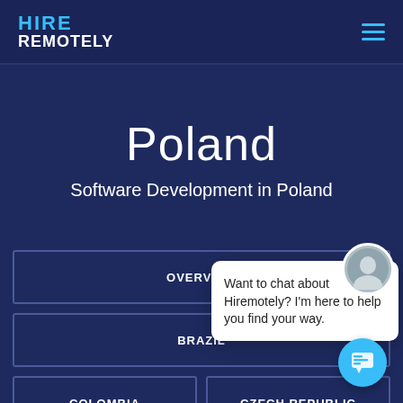HIRE REMOTELY
Poland
Software Development in Poland
OVERVIEW
BRAZIL
COLOMBIA
CZECH REPUBLIC
GERMANY
INDIA
Want to chat about Hiremotely? I'm here to help you find your way.